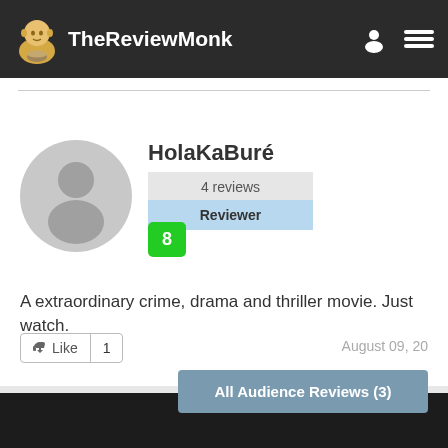TheReviewMonk
HolaKaBuré
4 reviews
Reviewer
8
A extraordinary crime, drama and thriller movie. Just watch.
Like 1
August 09, 20
All Audience Reviews (3)